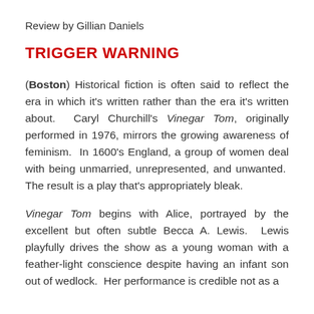Review by Gillian Daniels
TRIGGER WARNING
(Boston) Historical fiction is often said to reflect the era in which it's written rather than the era it's written about. Caryl Churchill's Vinegar Tom, originally performed in 1976, mirrors the growing awareness of feminism. In 1600's England, a group of women deal with being unmarried, unrepresented, and unwanted. The result is a play that's appropriately bleak.
Vinegar Tom begins with Alice, portrayed by the excellent but often subtle Becca A. Lewis. Lewis playfully drives the show as a young woman with a feather-light conscience despite having an infant son out of wedlock. Her performance is credible not as a